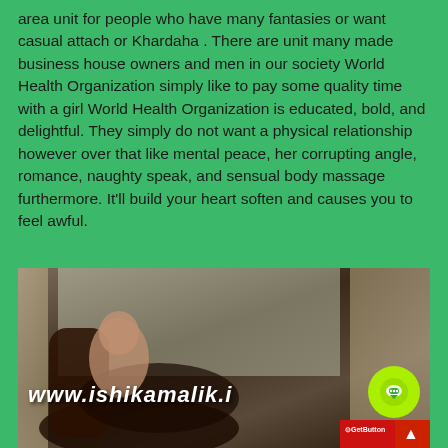area unit for people who have many fantasies or want casual attach or Khardaha . There are unit many made business house owners and men in our society World Health Organization simply like to pay some quality time with a girl World Health Organization is educated, bold, and delightful. They simply do not want a physical relationship however over that like mental peace, her corrupting angle, romance, naughty speak, and sensual body massage furthermore. It'll build your heart soften and causes you to feel awful.
[Figure (photo): A woman in dark clothing reclining on a chair in a room with curtains and window light. Watermark text 'www.ishikamalik.i' visible at bottom left. Green circular chat button and red GetButton bar at bottom right.]